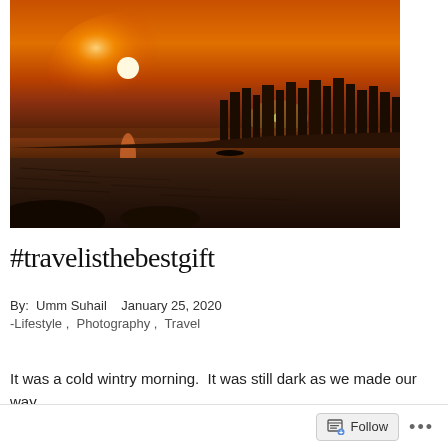[Figure (photo): Aerial sunset/sunrise photo over a coastal city skyline. Orange and amber sky with a bright sun low on the horizon reflecting on calm water. Dark city skyline silhouette with skyscrapers visible on the right. Rocky shoreline in the foreground.]
#travelisthebestgift
By:  Umm Suhail    January 25, 2020
-Lifestyle ,  Photography ,  Travel
It was a cold wintry morning.  It was still dark as we made our way
Follow  ...